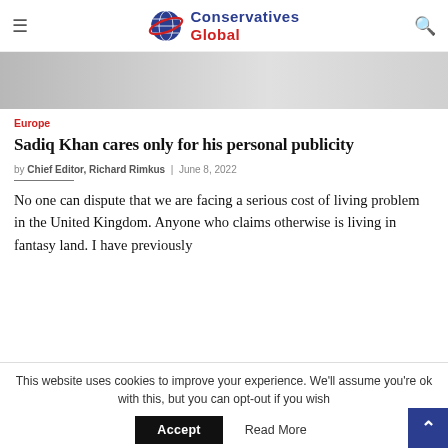Conservatives Global
[Figure (photo): Partial hero image, light grey gradient background, partially cropped]
Europe
Sadiq Khan cares only for his personal publicity
by Chief Editor, Richard Rimkus | June 8, 2022
No one can dispute that we are facing a serious cost of living problem in the United Kingdom. Anyone who claims otherwise is living in fantasy land. I have previously
This website uses cookies to improve your experience. We'll assume you're ok with this, but you can opt-out if you wish. Accept  Read More